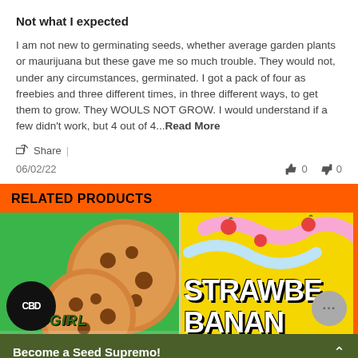Not what I expected
I am not new to germinating seeds, whether average garden plants or maurijuana but these gave me so much trouble. They would not, under any circumstances, germinated. I got a pack of four as freebies and three different times, in three different ways, to get them to grow. They WOULS NOT GROW. I would understand if a few didn't work, but 4 out of 4...Read More
Share |
06/02/22   👍 0   👎 0
RELATED PRODUCTS
[Figure (illustration): Two product images side by side: left shows CBD Girl Scouts cookies product on green background with cookie illustration and CBD logo; right shows Strawberry Banana product on yellow background with strawberry and banana illustrations and bold text]
Become a Seed Supremo!